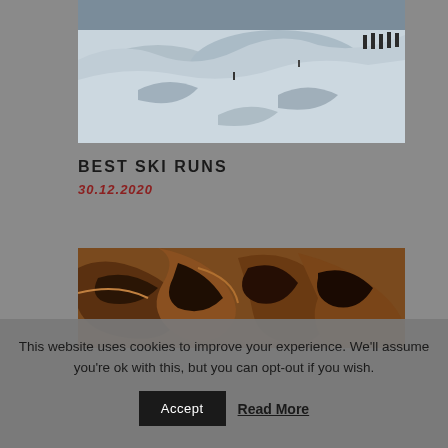[Figure (photo): Aerial or wide-angle view of a snowy mountain ski slope with skiers visible in the upper right corner, snow-covered terrain with shadows and ridges]
BEST SKI RUNS
30.12.2020
[Figure (photo): Close-up aerial photograph of canyon or river meander formations, showing winding dark curves against brown/orange rocky terrain]
This website uses cookies to improve your experience. We'll assume you're ok with this, but you can opt-out if you wish.